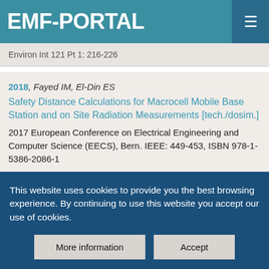EMF-PORTAL
Environ Int 121 Pt 1: 216-226
2018, Fayed IM, El-Din ES
Safety Distance Calculations for Macrocell Mobile Base Station and on Site Radiation Measurements [tech./dosim.]
2017 European Conference on Electrical Engineering and Computer Science (EECS), Bern. IEEE: 449-453, ISBN 978-1-5386-2086-1
This website uses cookies to provide you the best browsing experience. By continuing to use this website you accept our use of cookies.